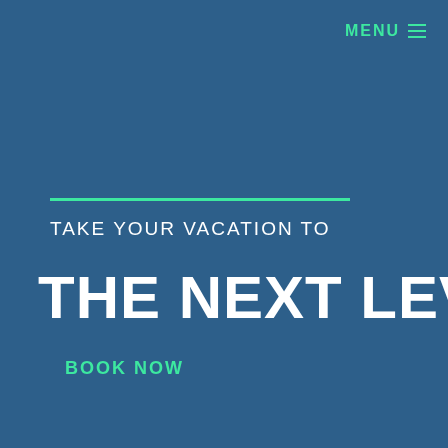MENU ≡
TAKE YOUR VACATION TO
THE NEXT LEVEL
BOOK NOW